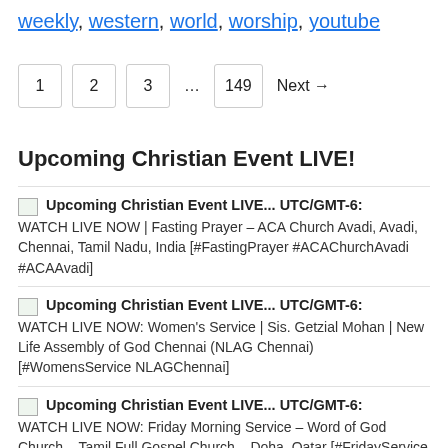weekly, western, world, worship, youtube
1  2  3  ...  149  Next →
Upcoming Christian Event LIVE!
Upcoming Christian Event LIVE... UTC/GMT-6: WATCH LIVE NOW | Fasting Prayer – ACA Church Avadi, Avadi, Chennai, Tamil Nadu, India [#FastingPrayer #ACAChurchAvadi #ACAAvadi]
Upcoming Christian Event LIVE... UTC/GMT-6: WATCH LIVE NOW: Women's Service | Sis. Getzial Mohan | New Life Assembly of God Chennai (NLAG Chennai) [#WomensService NLAGChennai]
Upcoming Christian Event LIVE... UTC/GMT-6: WATCH LIVE NOW: Friday Morning Service – Word of God Church – Tamil Full Gospel Church – Doha, Qatar [#FridayService #WordOfGodChurch #TamilFullGospelChurch #DohaQatar]